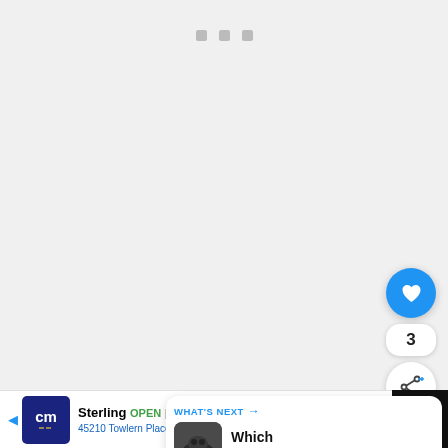[Figure (screenshot): A largely blank/loading web page area with three small gray square dots near the top center, suggesting a loading indicator or media player placeholder.]
[Figure (screenshot): UI overlay: a blue circular like/heart button, a count badge showing '3', and a white circular share button with a share icon, stacked vertically on the right side of the page.]
[Figure (screenshot): A 'WHAT'S NEXT' recommendation card in the lower right showing a thumbnail of an animal and the text 'Which Animals Eat...' with a Waze-style logo below.]
[Figure (screenshot): Ad banner at the bottom: a Crescent Moon (cm) store ad for 'Sterling OPEN 10AM-9PM 45210 Towlern Place, Sterling' with navigation arrow icon. Right portion shows dark background with Waze logo bars and partial text.]